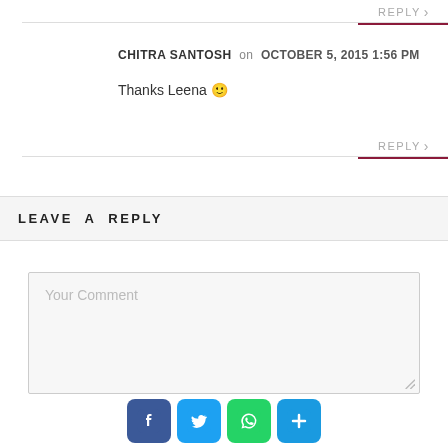REPLY
CHITRA SANTOSH on OCTOBER 5, 2015 1:56 PM
Thanks Leena 🙂
REPLY
LEAVE A REPLY
Your Comment
[Figure (infographic): Social sharing buttons: Facebook (blue), Twitter (blue), WhatsApp (green), Plus/Share (blue)]